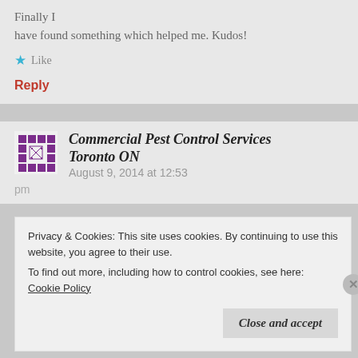Finally I have found something which helped me. Kudos!
★ Like
Reply
Commercial Pest Control Services Toronto ON
August 9, 2014 at 12:53 pm
Privacy & Cookies: This site uses cookies. By continuing to use this website, you agree to their use.
To find out more, including how to control cookies, see here: Cookie Policy
Close and accept